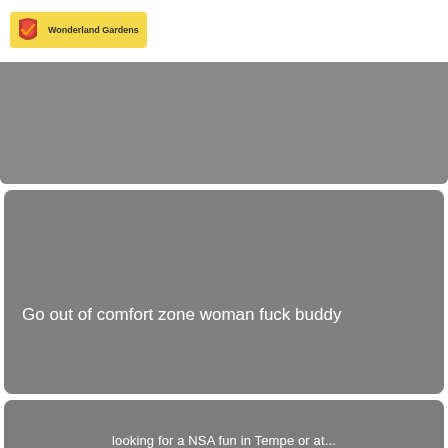[Figure (logo): Wonderland Gardens logo — yellow rounded rectangle with a red/orange shield icon and text 'Wonderland Gardens']
[Figure (photo): Gray placeholder image card (first, top)]
Go out of comfort zone woman fuck buddy
[Figure (photo): Gray placeholder image card (bottom, partial) with partial text about NSA fun in Tempe or similar]